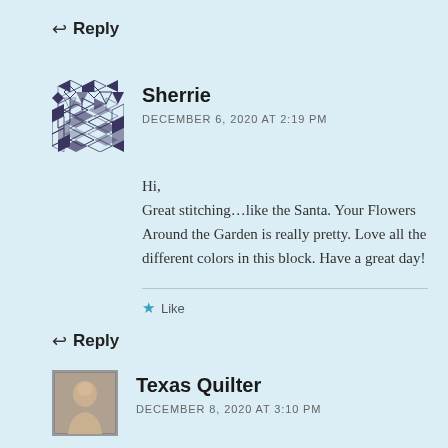↩ Reply
[Figure (illustration): Geometric quilting pattern avatar in black and white diamonds/triangles]
Sherrie
DECEMBER 6, 2020 AT 2:19 PM
Hi,
Great stitching…like the Santa. Your Flowers Around the Garden is really pretty. Love all the different colors in this block. Have a great day!
★ Like
↩ Reply
[Figure (photo): Small portrait photo of a person with light hair]
Texas Quilter
DECEMBER 8, 2020 AT 3:10 PM